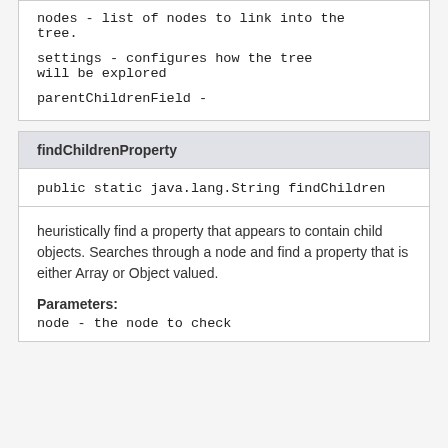nodes - list of nodes to link into the tree.
settings - configures how the tree will be explored
parentChildrenField -
findChildrenProperty
public static java.lang.String findChildren
heuristically find a property that appears to contain child objects. Searches through a node and find a property that is either Array or Object valued.
Parameters:
node - the node to check